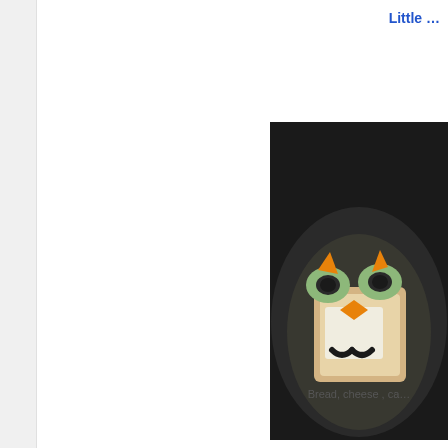Little …
[Figure (photo): A dark plate with a piece of toast decorated to look like an owl face, using cheese, carrot pieces, cucumber slices, and black olive rings arranged on the bread.]
Bread, cheese , ca…